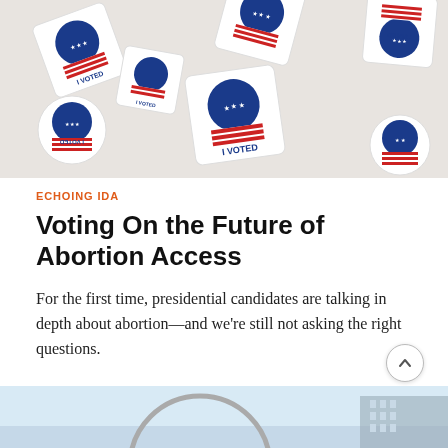[Figure (photo): Scattered 'I VOTED' stickers on a white surface, some square-shaped and some circular, featuring American flag imagery in red, white, and blue.]
ECHOING IDA
Voting On the Future of Abortion Access
For the first time, presidential candidates are talking in depth about abortion—and we're still not asking the right questions.
[Figure (photo): Partial view of a building exterior with a large curved metallic arch structure visible, blue sky with clouds in the background.]